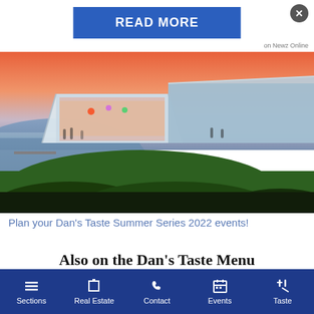[Figure (screenshot): READ MORE button ad banner with close X button and 'on Newz Online' text]
[Figure (photo): Aerial photo of an outdoor waterfront event venue with a large white tent/marquee lit up with colorful lights at sunset, set on a grassy peninsula next to calm water with an orange sky.]
Plan your Dan's Taste Summer Series 2022 events!
Also on the Dan’s Taste Menu
Dan’s GrillHampton
Sections | Real Estate | Contact | Events | Taste